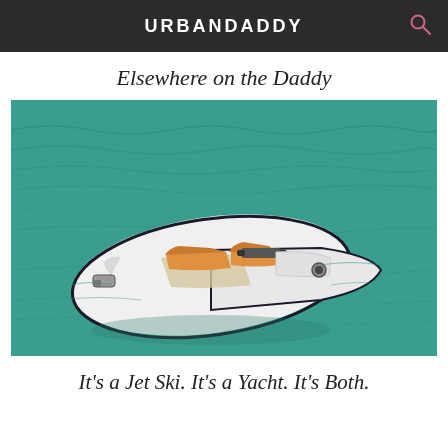URBANDADDY
Elsewhere on the Daddy
[Figure (photo): A white boat/jet ski hybrid vessel floating on turquoise-green water, viewed from above at an angle. The craft has orange/tan upholstered seating and a white hull with a dark trim line.]
It's a Jet Ski. It's a Yacht. It's Both.